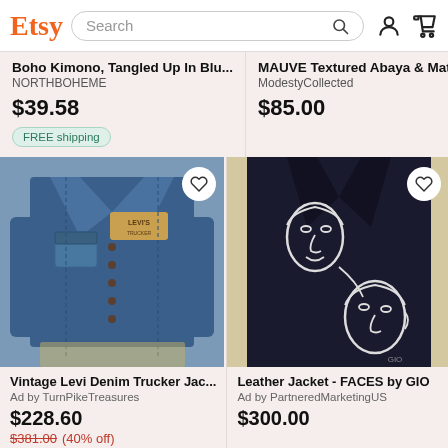Etsy — Search bar with user and cart icons
Boho Kimono, Tangled Up In Blu...
NORTHBOHEME
$39.58
FREE shipping
MAUVE Textured Abaya & Matc...
ModestyCollected
$85.00
[Figure (photo): Vintage Levi denim trucker jacket in blue, front view with Levi's patch label visible]
[Figure (photo): Black leather jacket with white line-art face illustration on the back, worn by a person]
Vintage Levi Denim Trucker Jac...
Ad by TurnPikeTreasures
$228.60
$381.00 (40% off)
Leather Jacket - FACES by GIO
Ad by PartneredMarketingUS
$300.00